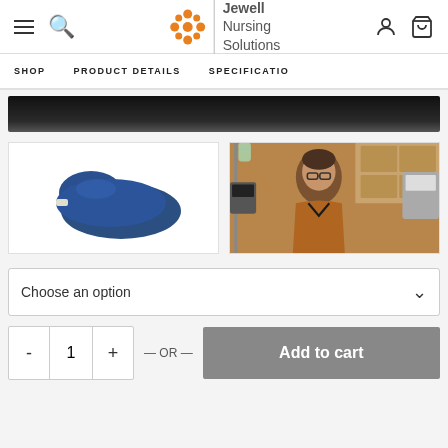Jewell Nursing Solutions - navigation header with menu, search, logo, account and cart icons
SHOP | PRODUCT DETAILS | SPECIFICATIONS
[Figure (screenshot): Dark banner strip at top of page content area]
[Figure (photo): Blue kidney-shaped nursing pillow on white background]
[Figure (photo): Video thumbnail showing a nurse in a hospital room setting]
Choose an option
- 1 + — OR — Add to cart